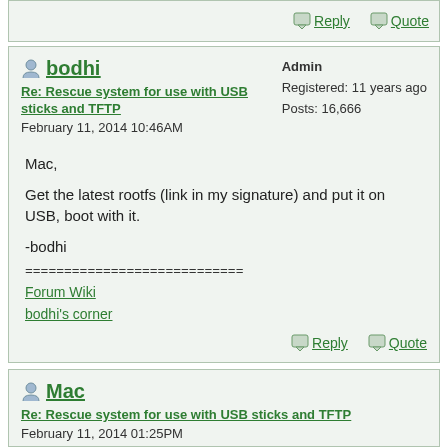Reply  Quote
bodhi
Re: Rescue system for use with USB sticks and TFTP
February 11, 2014 10:46AM
Admin
Registered: 11 years ago
Posts: 16,666
Mac,

Get the latest rootfs (link in my signature) and put it on USB, boot with it.

-bodhi
============================
Forum Wiki
bodhi's corner
Reply  Quote
Mac
Re: Rescue system for use with USB sticks and TFTP
February 11, 2014 01:25PM